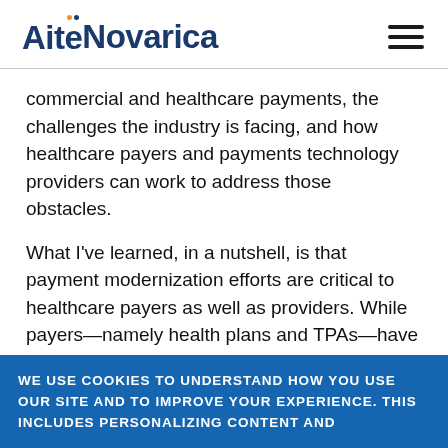Aite Novarica
commercial and healthcare payments, the challenges the industry is facing, and how healthcare payers and payments technology providers can work to address those obstacles.
What I've learned, in a nutshell, is that payment modernization efforts are critical to healthcare payers as well as providers. While payers—namely health plans and TPAs—have already made strides with regards to adopting electronic payments options, there is still ample room to grow.
WE USE COOKIES TO UNDERSTAND HOW YOU USE OUR SITE AND TO IMPROVE YOUR EXPERIENCE. THIS INCLUDES PERSONALIZING CONTENT AND